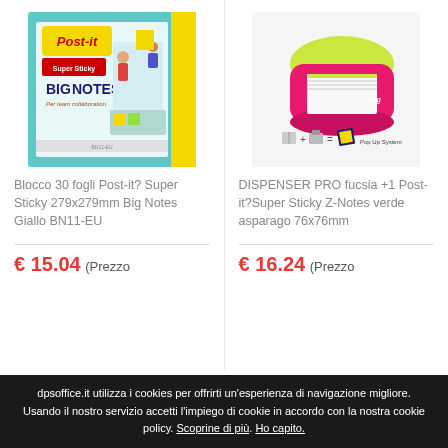[Figure (photo): Product image: Post-it Super Sticky Big Notes BIG NOTES 279x279mm Yellow packaging showing people using large sticky notes on a wall]
Blocco 30 fogli Post-it? Super Sticky 279x279mm Big Notes Giallo BN11-EU
€ 15.04 (Prezzo
[Figure (photo): Product image: Post-it DISPENSER PRO fucsia pink/green dispenser with Pop Up system for Z-Notes, shown with bookmark and printer icons]
DISPENSER PRO fucsia +1 Post-it?Super Sticky Z-Notes verde asparago 76x76mm
€ 16.24 (Prezzo
dpsoffice.it utilizza i cookies per offrirti un'esperienza di navigazione migliore. Usando il nostro servizio accetti l'impiego di cookie in accordo con la nostra cookie policy. Scoprine di più. Ho capito.